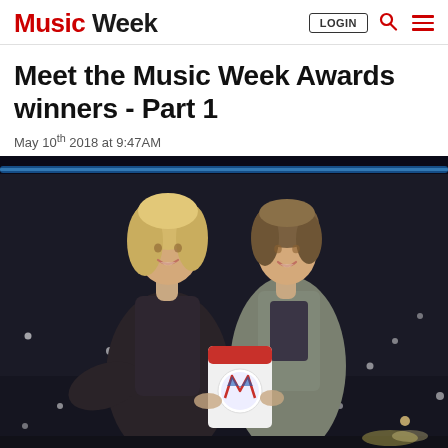Music Week — LOGIN, Search, Menu
Meet the Music Week Awards winners - Part 1
May 10th 2018 at 9:47AM
[Figure (photo): Two women standing on a dark stage, one holding a Music Week Awards trophy. The woman on the left has blonde hair and wears a dark floral dress; the woman on the right wears a grey blazer and floral top.]